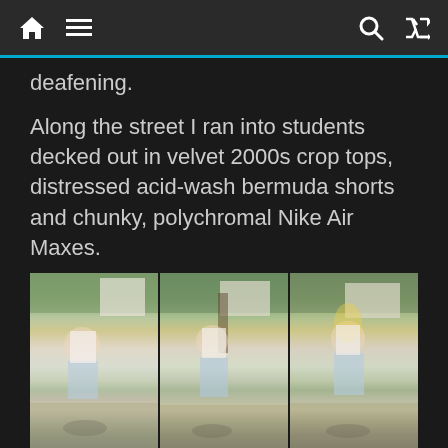[Navigation bar with home, menu, search, and shuffle icons]
deafening.
Along the street I ran into students decked out in velvet 2000s crop tops, distressed acid-wash bermuda shorts and chunky, polychromal Nike Air Maxes.
[Figure (photo): Three-panel photo strip showing Berkeley student Julia Fu '23 wearing a white crop top and light blue bermuda shorts with chunky sneakers, photographed outdoors on a sunny day near trees and a paved walkway. Three poses shown side by side.]
Berkeley student Julia Fu '23. (Photo: CHLOE MENDOZA/The Stanford Daily).
Others walked past me in majestic palazzo pants